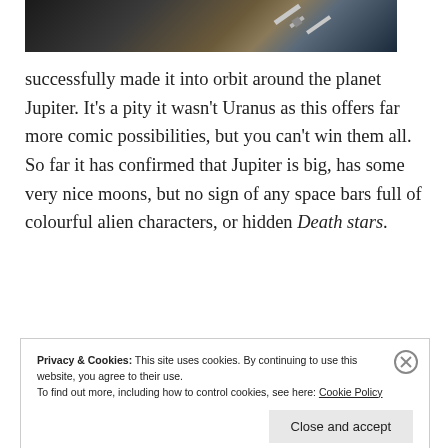[Figure (photo): Partial view of a spacecraft near Jupiter against a dark space background]
successfully made it into orbit around the planet Jupiter. It’s a pity it wasn’t Uranus as this offers far more comic possibilities, but you can’t win them all. So far it has confirmed that Jupiter is big, has some very nice moons, but no sign of any space bars full of colourful alien characters, or hidden Death stars.
Privacy & Cookies: This site uses cookies. By continuing to use this website, you agree to their use. To find out more, including how to control cookies, see here: Cookie Policy
Close and accept